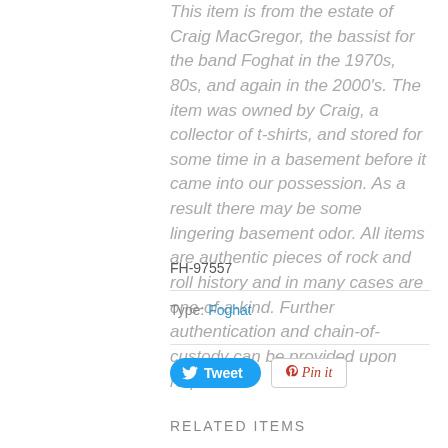This item is from the estate of Craig MacGregor, the bassist for the band Foghat in the 1970s, 80s, and again in the 2000's.  The item was owned by Craig, a collector of t-shirts, and stored for some time in a basement before it came into our possession.  As a result there may be some lingering basement odor. All items are authentic pieces of rock and roll history and in many cases are one-of-a-kind.  Further authentication and chain-of-custody can be provided upon request.
FH-97557
Type: Foghat
[Figure (other): Tweet button (blue rounded) and Pin it button (white outlined with red text)]
RELATED ITEMS